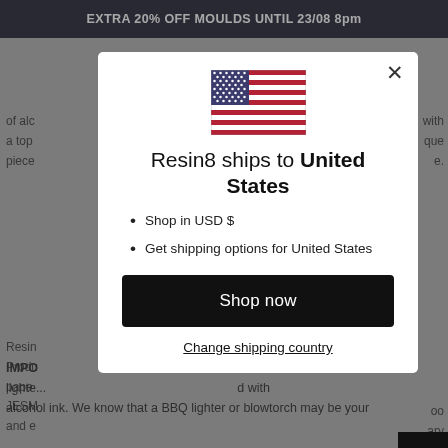EXTRA 20% OFF MOULDS UNTIL 23/08 8pm
of alc... with a top... que piece... e.
Resin... Produ... 00 pape... JESM... ary and e...
Our a... nd 100m... ink befor...
IMPO ligh... d with alcohol ink. We know that a BBQ lighter or blowtorch may be your
[Figure (screenshot): Modal popup dialog showing US flag, 'Resin8 ships to United States' heading, bullet points for USD shopping and shipping options, a black 'Shop now' button, and a 'Change shipping country' link]
Resin8 ships to United States
Shop in USD $
Get shipping options for United States
Shop now
Change shipping country